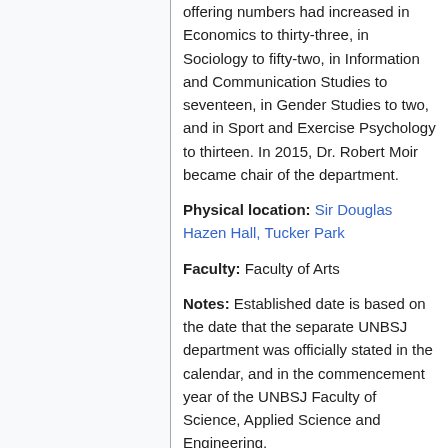offering numbers had increased in Economics to thirty-three, in Sociology to fifty-two, in Information and Communication Studies to seventeen, in Gender Studies to two, and in Sport and Exercise Psychology to thirteen. In 2015, Dr. Robert Moir became chair of the department.
Physical location: Sir Douglas Hazen Hall, Tucker Park
Faculty: Faculty of Arts
Notes: Established date is based on the date that the separate UNBSJ department was officially stated in the calendar, and in the commencement year of the UNBSJ Faculty of Science, Applied Science and Engineering.
Sources:
Undergraduate Calendars (UA RG